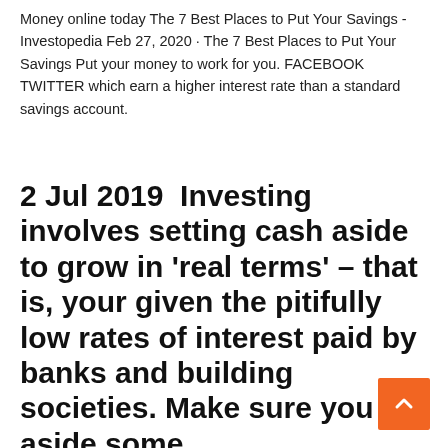Money online today The 7 Best Places to Put Your Savings - Investopedia Feb 27, 2020 · The 7 Best Places to Put Your Savings Put your money to work for you. FACEBOOK TWITTER which earn a higher interest rate than a standard savings account.
2 Jul 2019  Investing involves setting cash aside to grow in 'real terms' – that is, your given the pitifully low rates of interest paid by banks and building societies. Make sure you set aside some